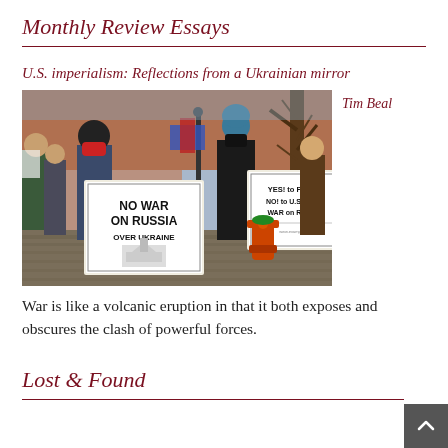Monthly Review Essays
U.S. imperialism: Reflections from a Ukrainian mirror
[Figure (photo): Outdoor protest scene with people holding signs reading 'NO WAR ON RUSSIA OVER UKRAINE' and 'YES! to PEACE NO! to U.S./NATO WAR on RUSSIA'. An orange fire hydrant is visible in the background. People are wearing winter clothing and masks.]
Tim Beal
War is like a volcanic eruption in that it both exposes and obscures the clash of powerful forces.
Lost & Found